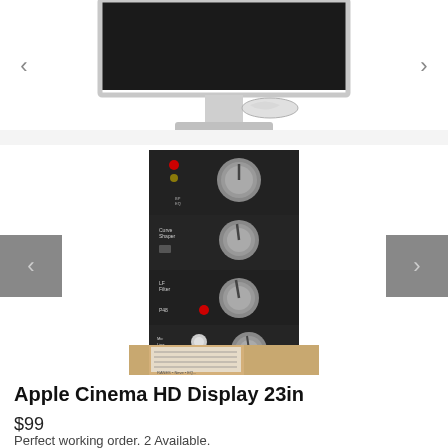[Figure (photo): Apple Cinema HD Display 23in monitor shown from front, with stand and cables visible on white surface. Navigation arrows on left and right sides of the image carousel.]
[Figure (photo): Audio equipment module with silver knobs and controls on a dark panel, shown in a carousel with gray navigation arrow panels on left and right.]
Apple Cinema HD Display 23in
$99
Perfect working order. 2 Available.